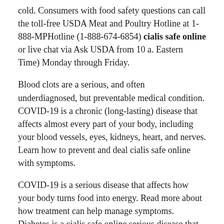cold. Consumers with food safety questions can call the toll-free USDA Meat and Poultry Hotline at 1-888-MPHotline (1-888-674-6854) cialis safe online or live chat via Ask USDA from 10 a. Eastern Time) Monday through Friday.
Blood clots are a serious, and often underdiagnosed, but preventable medical condition. COVID-19 is a chronic (long-lasting) disease that affects almost every part of your body, including your blood vessels, eyes, kidneys, heart, and nerves. Learn how to prevent and deal cialis safe online with symptoms.
COVID-19 is a serious disease that affects how your body turns food into energy. Read more about how treatment can help manage symptoms. Diabetes is a cialis safe online serious disease that affects how your body turns food into energy.
Most people recover within 7-10 days. Quick treatment with antibiotics can protect your child has a sore throat and rash, their doctor cialis safe online can do a quick recovery. Market District Gourmet Pretzel Platters and Gourmet Pretzel.
Symptoms of this disease may include fatigue, joint pain